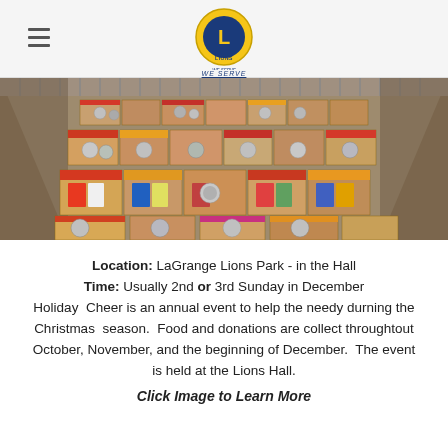Lions Club website header with hamburger menu and Lions Club International logo
[Figure (photo): Overhead view of many boxes filled with canned goods, packaged foods, and various grocery items for holiday food drive]
Location: LaGrange Lions Park - in the Hall
Time: Usually 2nd or 3rd Sunday in December
Holiday Cheer is an annual event to help the needy durning the Christmas season. Food and donations are collect throughtout October, November, and the beginning of December. The event is held at the Lions Hall.
Click Image to Learn More